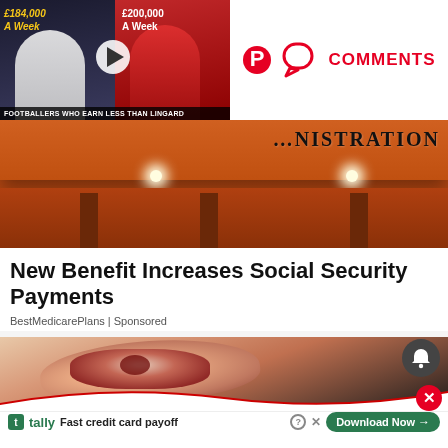[Figure (screenshot): Video thumbnail showing two footballers with salary text: £184,000 A WEEK and £200,000 A WEEK, with caption FOOTBALLERS WHO EARN LESS THAN LINGARD]
COMMENTS
[Figure (photo): Photo of a government administration building exterior with orange/brown facade and overhead sign reading ADMINISTRATION]
New Benefit Increases Social Security Payments
BestMedicarePlans | Sponsored
[Figure (photo): Photo of raw meat being held in hands, partially covered by a wave-shaped red/white ad overlay]
tally Fast credit card payoff Download Now →